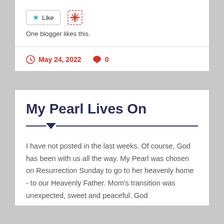[Figure (other): Like button with star icon and a reblog/share icon. Text below reads 'One blogger likes this.']
One blogger likes this.
May 24, 2022   0
My Pearl Lives On
I have not posted in the last weeks. Of course, God has been with us all the way. My Pearl was chosen on Resurrection Sunday to go to her heavenly home - to our Heavenly Father. Mom's transition was unexpected, sweet and peaceful. God